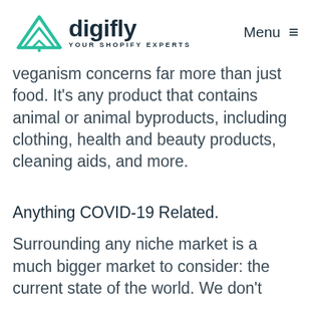digifly YOUR SHOPIFY EXPERTS | Menu
veganism concerns far more than just food. It's any product that contains animal or animal byproducts, including clothing, health and beauty products, cleaning aids, and more.
Anything COVID-19 Related.
Surrounding any niche market is a much bigger market to consider: the current state of the world. We don't